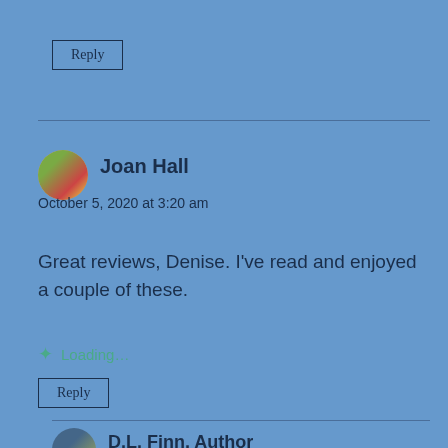Reply
Joan Hall
October 5, 2020 at 3:20 am
Great reviews, Denise. I've read and enjoyed a couple of these.
Loading...
Reply
D.L. Finn, Author